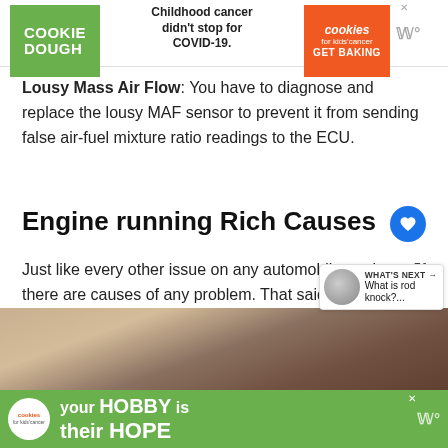[Figure (screenshot): Advertisement banner for Cookies for Kids Cancer featuring green cookie dough logo on left, text 'Childhood cancer didn't stop for COVID-19.' in center, orange 'cookies GET BAKING' logo on right]
Lousy Mass Air Flow: You have to diagnose and replace the lousy MAF sensor to prevent it from sending false air-fuel mixture ratio readings to the ECU.
Engine running Rich Causes
Just like every other issue on any automobile engin there are causes of any problem. That said, let's lo at the possible causes of a car running Rich
[Figure (photo): Partial photo of a person, appears to be an automotive-related image, partially obscured]
[Figure (screenshot): Advertisement banner with green background for Cookies for Kids Cancer with text 'your HOBBY is their HOPE']